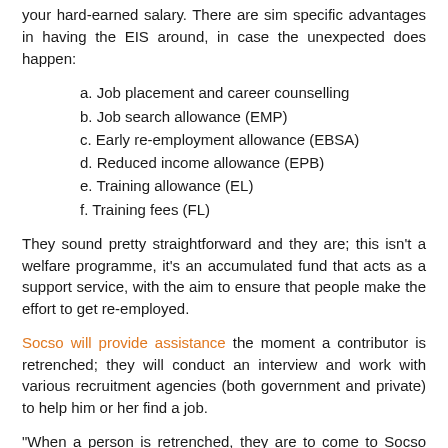your hard-earned salary. There are sim specific advantages in having the EIS around, in case the unexpected does happen:
a. Job placement and career counselling
b. Job search allowance (EMP)
c. Early re-employment allowance (EBSA)
d. Reduced income allowance (EPB)
e. Training allowance (EL)
f. Training fees (FL)
They sound pretty straightforward and they are; this isn't a welfare programme, it's an accumulated fund that acts as a support service, with the aim to ensure that people make the effort to get re-employed.
Socso will provide assistance the moment a contributor is retrenched; they will conduct an interview and work with various recruitment agencies (both government and private) to help him or her find a job.
"When a person is retrenched, they are to come to Socso and claim their first job search allowance. We will then monitor the interviews that they are called for and liaise